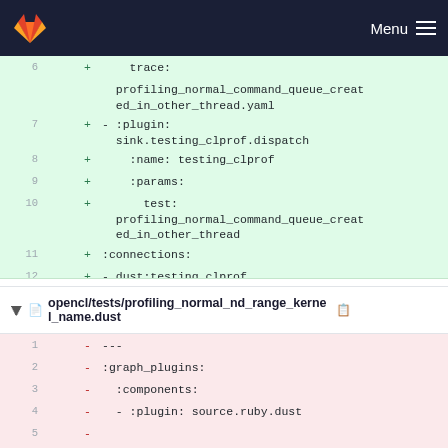Menu
[Figure (screenshot): Git diff view showing added lines (green) in a YAML config file with line numbers 6-12, showing trace, profiling_normal_command_queue_created_in_other_thread.yaml, plugin, sink.testing_clprof.dispatch, name, params, test, profiling_normal_command_queue_created_in_other_thread, connections, dust:testing_clprof]
opencl/tests/profiling_normal_nd_range_kernel_name.dust
[Figure (screenshot): Git diff view showing removed lines (red) in a .dust file with line numbers 1-5, showing ---, :graph_plugins:, :components:, - :plugin: source.ruby.dust, and a partial line 5]